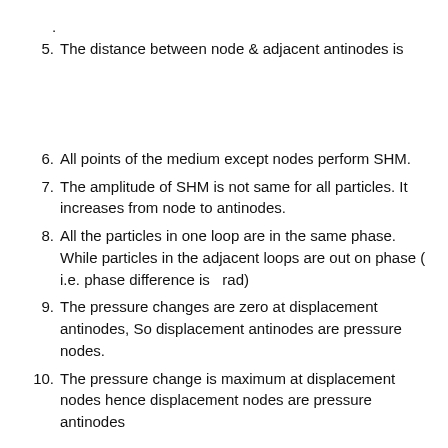.
5. The distance between node & adjacent antinodes is
6. All points of the medium except nodes perform SHM.
7. The amplitude of SHM is not same for all particles. It increases from node to antinodes.
8. All the particles in one loop are in the same phase. While particles in the adjacent loops are out on phase ( i.e. phase difference is  rad)
9. The pressure changes are zero at displacement antinodes, So displacement antinodes are pressure nodes.
10. The pressure change is maximum at displacement nodes hence displacement nodes are pressure antinodes